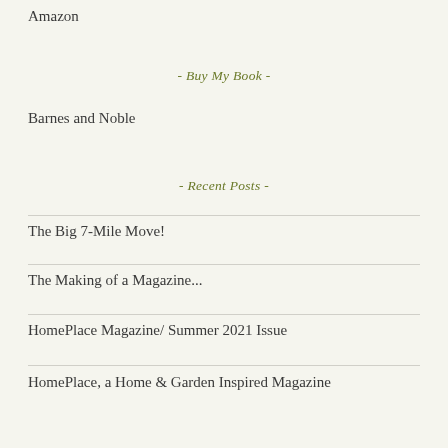Amazon
- Buy My Book -
Barnes and Noble
- Recent Posts -
The Big 7-Mile Move!
The Making of a Magazine...
HomePlace Magazine/ Summer 2021 Issue
HomePlace, a Home & Garden Inspired Magazine